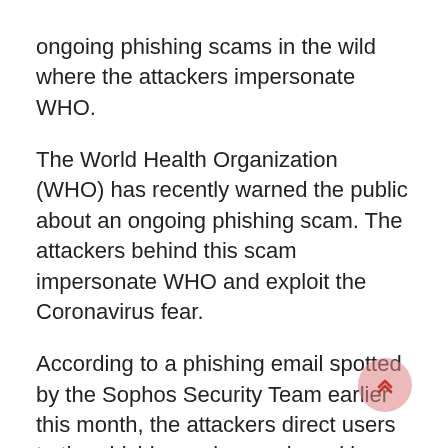ongoing phishing scams in the wild where the attackers impersonate WHO. The World Health Organization (WHO) has recently warned the public about an ongoing phishing scam. The attackers behind this scam impersonate WHO and exploit the Coronavirus fear. According to a phishing email spotted by the Sophos Security Team earlier this month, the attackers direct users to the phishing web page by asking them to click on the given link so as to seek information on “safety measures regarding the spreading of corona virus”. Though, the obvious language errors suffice to hint the falsehood of the email. Consequently, the WHO has issued a general security alert about such phishing scams exploiting their name. As stated in their notice,